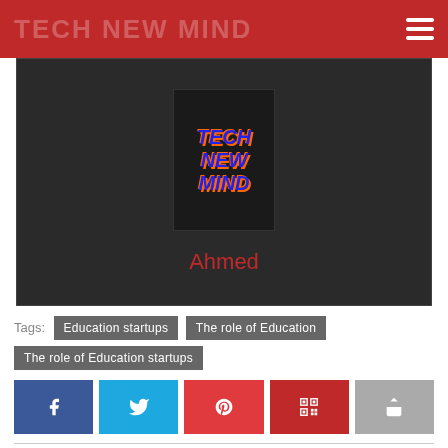TECH NEW MIND
[Figure (logo): Tech New Mind logo: black square background with blue italic bold text reading TECH NEW MIND in three lines]
Ahmed
Tags: Education startups  The role of Education  The role of Education startups
[Figure (infographic): Social sharing buttons: Facebook, Twitter, Pinterest, QR code, and share arrow icons in colored rectangles]